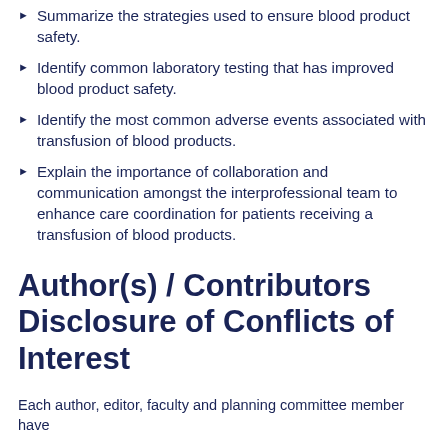Summarize the strategies used to ensure blood product safety.
Identify common laboratory testing that has improved blood product safety.
Identify the most common adverse events associated with transfusion of blood products.
Explain the importance of collaboration and communication amongst the interprofessional team to enhance care coordination for patients receiving a transfusion of blood products.
Author(s) / Contributors Disclosure of Conflicts of Interest
Each author, editor, faculty and planning committee member have